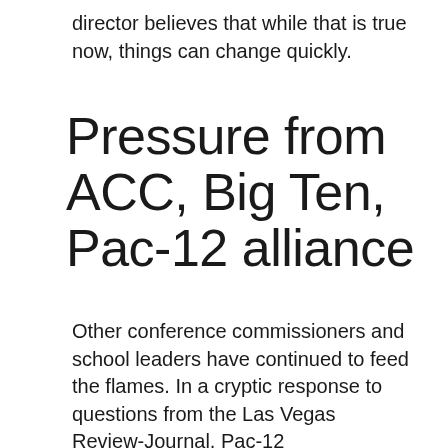director believes that while that is true now, things can change quickly.
Pressure from ACC, Big Ten, Pac-12 alliance
Other conference commissioners and school leaders have continued to feed the flames. In a cryptic response to questions from the Las Vegas Review-Journal, Pac-12 commissioner George Kliavkoff said he spoke with “probably all of the [schools] you would expect and several you’d be surprised by.”